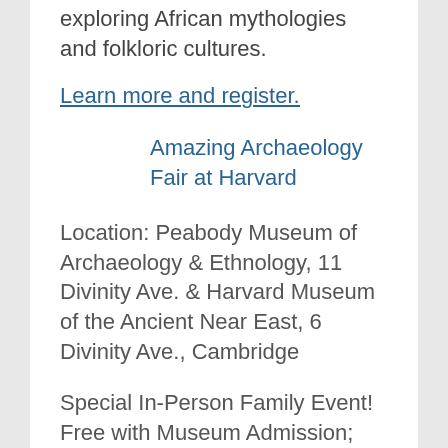exploring African mythologies and folkloric cultures.
Learn more and register.
Amazing Archaeology Fair at Harvard
Location: Peabody Museum of Archaeology & Ethnology, 11 Divinity Ave. & Harvard Museum of the Ancient Near East, 6 Divinity Ave., Cambridge
Special In-Person Family Event! Free with Museum Admission; Admissions Reservation Required.